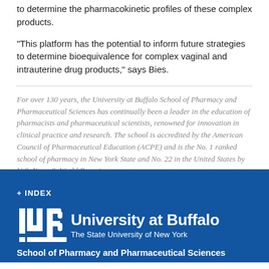to determine the pharmacokinetic profiles of these complex products.
"This platform has the potential to inform future strategies to determine bioequivalence for complex vaginal and intrauterine drug products," says Bies.
For over 130 years, the University at Buffalo School of Pharmacy and Pharmaceutical Sciences has continually been a leader in the education of pharmacists and pharmaceutical scientists, renowned for innovation in clinical practice and research. The school is accredited by the American Council of Pharmaceutical Education (ACPE) and is the No. 1 ranked school of pharmacy in New York State and No. 22 in the United States by U.S. News & World Report.
+ INDEX
[Figure (logo): University at Buffalo logo with UB monogram and text 'University at Buffalo, The State University of New York']
School of Pharmacy and Pharmaceutical Sciences